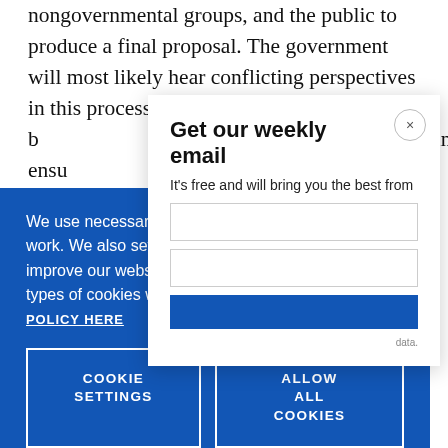nongovernmental groups, and the public to produce a final proposal. The government will most likely hear conflicting perspectives in this process, b... combatti... and ensu...
[Figure (screenshot): Email newsletter signup modal with title 'Get our weekly email', subtitle 'It's free and will bring you the best from', a close button (×), and form input fields.]
[Figure (screenshot): Cookie consent banner with blue background. Text reads: 'We use necessary cookies that allow our site to work. We also set optional cookies that help us improve our website. For more information about the types of cookies we use. READ OUR COOKIES POLICY HERE'. Two buttons: 'COOKIE SETTINGS' and 'ALLOW ALL COOKIES'.]
data.